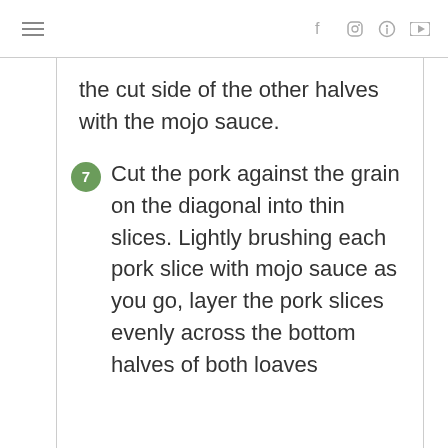≡  [social icons: f, instagram, pinterest, youtube]
the cut side of the other halves with the mojo sauce.
7. Cut the pork against the grain on the diagonal into thin slices. Lightly brushing each pork slice with mojo sauce as you go, layer the pork slices evenly across the bottom halves of both loaves...